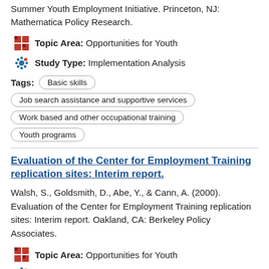Summer Youth Employment Initiative. Princeton, NJ: Mathematica Policy Research.
Topic Area: Opportunities for Youth
Study Type: Implementation Analysis
Tags: Basic skills | Job search assistance and supportive services | Work based and other occupational training | Youth programs
Evaluation of the Center for Employment Training replication sites: Interim report.
Walsh, S., Goldsmith, D., Abe, Y., & Cann, A. (2000). Evaluation of the Center for Employment Training replication sites: Interim report. Oakland, CA: Berkeley Policy Associates.
Topic Area: Opportunities for Youth
Study Type: Implementation Analysis